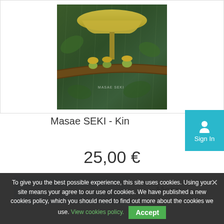[Figure (photo): Digital artwork showing frogs sheltering under a mushroom umbrella on a branch in the rain, by Masae Seki]
Masae SEKI - Kin
25,00 €
Add to cart
More
To give you the best possible experience, this site uses cookies. Using your site means your agree to our use of cookies. We have published a new cookies policy, which you should need to find out more about the cookies we use. View cookies policy.  Accept